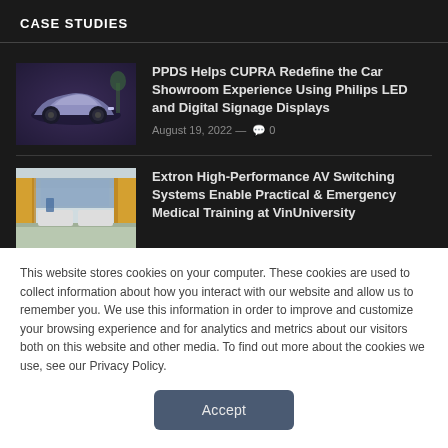CASE STUDIES
[Figure (photo): Car showroom image showing a silver/purple electric car on display in a dark showroom setting]
PPDS Helps CUPRA Redefine the Car Showroom Experience Using Philips LED and Digital Signage Displays
August 19, 2022 — 0
[Figure (photo): Medical training room with yellow curtains, blue/white walls, and medical equipment]
Extron High-Performance AV Switching Systems Enable Practical & Emergency Medical Training at VinUniversity
This website stores cookies on your computer. These cookies are used to collect information about how you interact with our website and allow us to remember you. We use this information in order to improve and customize your browsing experience and for analytics and metrics about our visitors both on this website and other media. To find out more about the cookies we use, see our Privacy Policy.
Accept